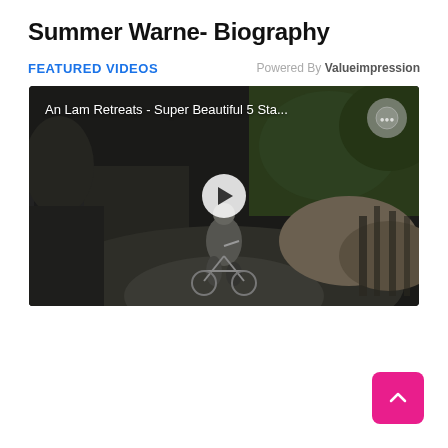Summer Warne- Biography
FEATURED VIDEOS
Powered By Valueimpression
[Figure (screenshot): Video thumbnail showing a person on a bicycle on a dark outdoor path with vegetation, with overlaid title 'An Lam Retreats - Super Beautiful 5 Sta...' and a play button in the center. A circular logo appears in the top right corner.]
[Figure (other): Pink/magenta back-to-top button with an upward chevron arrow, positioned in the bottom right corner.]